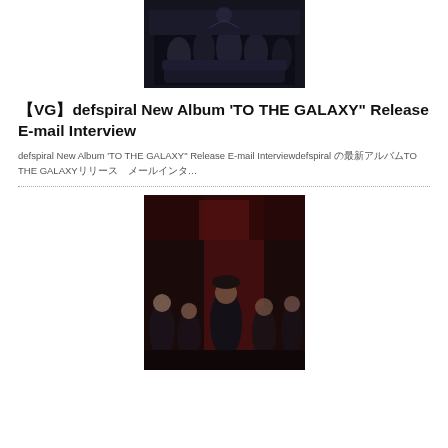[Figure (photo): Band photo in dark setting, members seated/standing in dark clothing]
【VG】defspiral New Album 'TO THE GALAXY" Release E-mail Interview
defspiral New Album 'TO THE GALAXY" Release E-mail Interviewdefspiral の最新アルバムTO THE GALAXYリリース　メールインタ…
[Figure (photo): Band photo with red/dark background, members in gothic clothing]